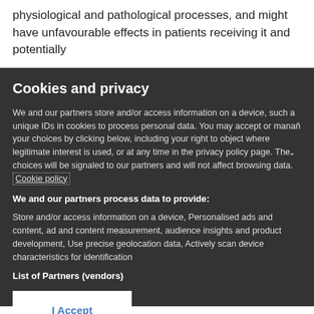physiological and pathological processes, and might have unfavourable effects in patients receiving it and potentially
Cookies and privacy
We and our partners store and/or access information on a device, such as unique IDs in cookies to process personal data. You may accept or manage your choices by clicking below, including your right to object where legitimate interest is used, or at any time in the privacy policy page. These choices will be signaled to our partners and will not affect browsing data. Cookie policy
We and our partners process data to provide:
Store and/or access information on a device, Personalised ads and content, ad and content measurement, audience insights and product development, Use precise geolocation data, Actively scan device characteristics for identification
List of Partners (vendors)
I Accept